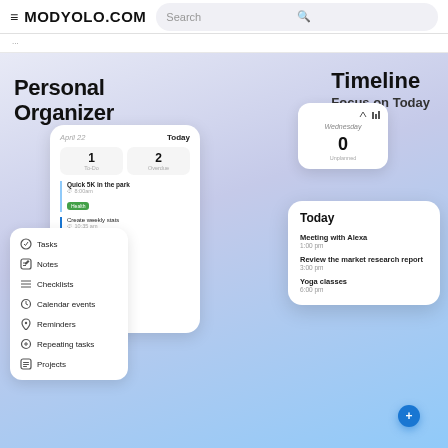≡ MODYOLO.COM  Search 🔍
Personal Organizer
Timeline
Focus on Today
[Figure (screenshot): App screenshot showing Personal Organizer with April 22 Today view, 1 To-Do, 2 Overdue, task list including Quick 5K in the park, Create weekly stats, Meeting with Alex, Review the mark, Compile, Yoga classes, and a side menu with Tasks, Notes, Checklists, Calendar events, Reminders, Repeating tasks, Projects]
[Figure (screenshot): Timeline phone screenshot showing Wednesday with 0 Unplanned items, and a Today card with Meeting with Alexa 1:00pm, Review the market research report 3:00pm, Yoga classes 6:00pm]